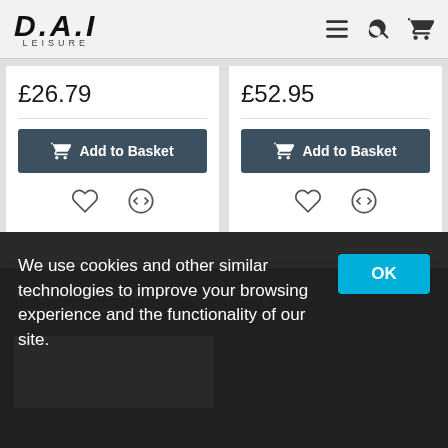[Figure (logo): D.A.I LEISURE logo in bold italic font with navigation icons (hamburger menu, search, basket)]
£26.79
Add to Basket
£52.95
Add to Basket
RECENTLY VIEWED
MOST VIEWED
We use cookies and other similar technologies to improve your browsing experience and the functionality of our site.
OK